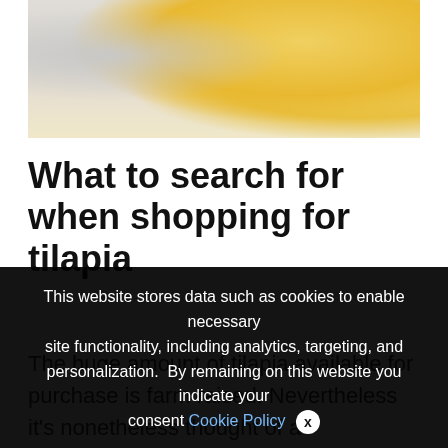[Figure (photo): Food photo showing a white plate with lemon slices, suggesting a fish dish with tilapia]
What to search for when shopping for tilapia
The huge amount of tilapia available for purchase is farm raised. Nevertheless it’s nonetheless thought of a sustainable fish
We use cookies on our website to give you the most relevant experience by remembering your preferences and repeat visits. By clicking “Accept All”, you consent to the use of ALL the controlled consent.
This website stores data such as cookies to enable necessary site functionality, including analytics, targeting, and personalization. By remaining on this website you indicate your consent Cookie Policy ✕